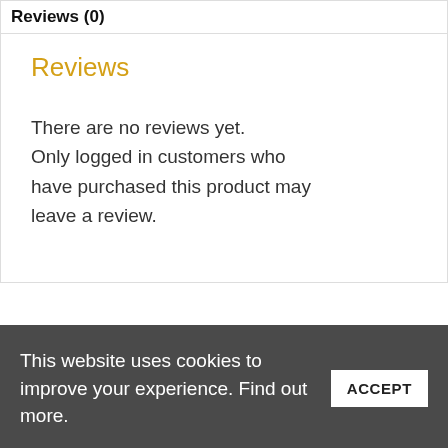Reviews (0)
Reviews
There are no reviews yet. Only logged in customers who have purchased this product may leave a review.
Related products
This website uses cookies to improve your experience. Find out more.